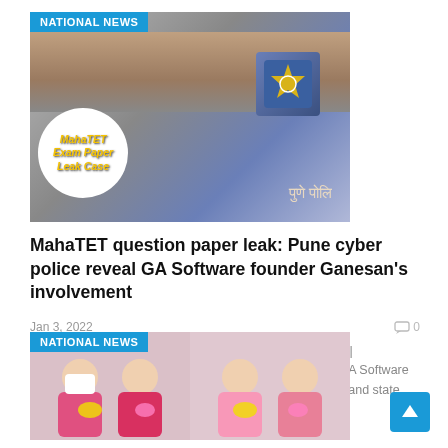[Figure (photo): News image showing handcuffed wrist with MahaTET Exam Paper Leak Case overlay and Pune Police badge, with NATIONAL NEWS badge]
MahaTET question paper leak: Pune cyber police reveal GA Software founder Ganesan's involvement
Jan 3, 2022
0
Pune : Policenama online  MahaTET question paper leak | Investigation has aaprently revealed the involvement of GA Software founder Ganesan in the paper leaks of MahaTET, Mhada and state health department.GA Software officials Pritish...
[Figure (photo): News image showing two women in colorful sarees holding flowers, with NATIONAL NEWS badge]